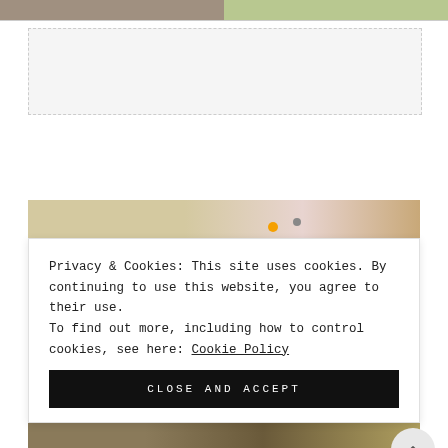[Figure (photo): Two photos side by side at top of page: left shows a dark/neutral interior scene, right shows colorful items with green and patterned elements]
[Figure (other): Advertisement or banner placeholder box with dashed border and light gray background]
[Figure (photo): Partial photo showing sandy/beige surface on left, pink floral fabric in center, orange/gold bead and another bead visible]
Privacy & Cookies: This site uses cookies. By continuing to use this website, you agree to their use.
To find out more, including how to control cookies, see here: Cookie Policy
[Figure (other): CLOSE AND ACCEPT button in black with white uppercase spaced text]
[Figure (photo): Bottom photo strip showing golden/brown craft or natural material items]